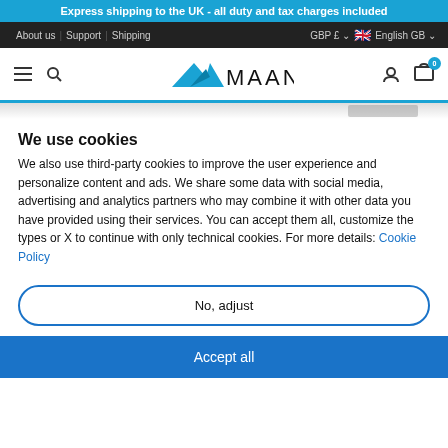Express shipping to the UK - all duty and tax charges included
About us | Support | Shipping   GBP £ 🇬🇧 English GB
[Figure (logo): Maanta brand logo with blue manta ray graphic and wordmark MAANTA]
We use cookies
We also use third-party cookies to improve the user experience and personalize content and ads. We share some data with social media, advertising and analytics partners who may combine it with other data you have provided using their services. You can accept them all, customize the types or X to continue with only technical cookies. For more details: Cookie Policy
No, adjust
Accept all